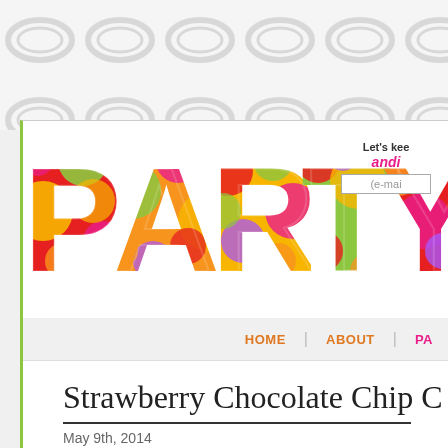[Figure (logo): Party blog colorful logo with large letters P-A-R-T-Y in multi-colored illustrated style with circles and shapes, partially cropped on right]
Let's kee
andi
(e-mai
HOME | ABOUT | PA
Strawberry Chocolate Chip C
May 9th, 2014